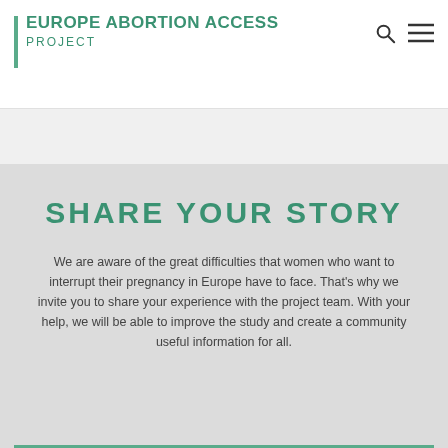EUROPE ABORTION ACCESS PROJECT
SHARE YOUR STORY
We are aware of the great difficulties that women who want to interrupt their pregnancy in Europe have to face. That's why we invite you to share your experience with the project team. With your help, we will be able to improve the study and create a community useful information for all.